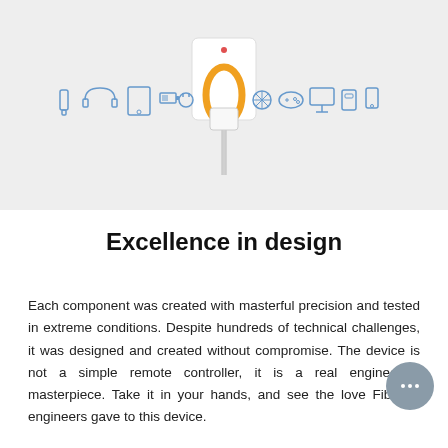[Figure (photo): Product photo of a Fibaro smart plug/wall controller device plugged into a wall socket, with various device icons arranged in a horizontal line on either side of it against a light gray background.]
Excellence in design
Each component was created with masterful precision and tested in extreme conditions. Despite hundreds of technical challenges, it was designed and created without compromise. The device is not a simple remote controller, it is a real engineering masterpiece. Take it in your hands, and see the love Fibaro’s engineers gave to this device.